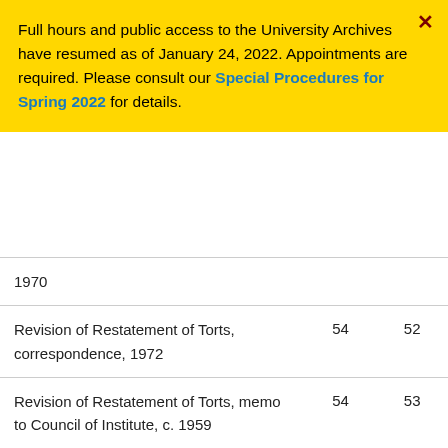Full hours and public access to the University Archives have resumed as of January 24, 2022. Appointments are required. Please consult our Special Procedures for Spring 2022 for details.
| Description | Box | Folder |
| --- | --- | --- |
| 1970 |  |  |
| Revision of Restatement of Torts, correspondence, 1972 | 54 | 52 |
| Revision of Restatement of Torts, memo to Council of Institute, c. 1959 | 54 | 53 |
| Revision of Restatement of Torts, minutes of meeting of advisors, 1956-1957, n.d. | 54 | 54 |
| Revision of Restatement of Torts, organizational timeline, | 54 | 55 |